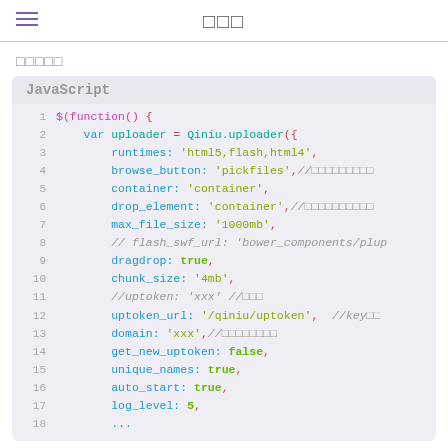□□□
□□□□□
JavaScript code block showing Qiniu uploader configuration:
1  $(function() {
2      var uploader = Qiniu.uploader({
3          runtimes: 'html5,flash,html4',
4          browse_button: 'pickfiles',//□□□□□□□□□
5          container: 'container',
6          drop_element: 'container',//□□□□□□□□□□
7          max_file_size: '1000mb',
8          // flash_swf_url: 'bower_components/plup
9          dragdrop: true,
10         chunk_size: '4mb',
11         //uptoken: 'xxx' //□□□
12         uptoken_url: '/qiniu/uptoken',  //key□□
13         domain: 'xxx',//□□□□□□□□
14         get_new_uptoken: false,
15         unique_names: true,
16         auto_start: true,
17         log_level: 5,
18         ...